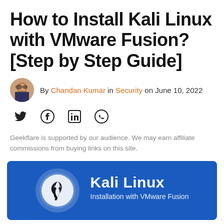How to Install Kali Linux with VMware Fusion? [Step by Step Guide]
By Chandan Kumar in Security on June 10, 2022
[Figure (infographic): Social share icons: Twitter, Facebook, LinkedIn, WhatsApp]
Geekflare is supported by our audience. We may earn affiliate commissions from buying links on this site.
[Figure (infographic): Blue banner with Kali Linux logo and text: Kali Linux Installation with VMware Fusion]